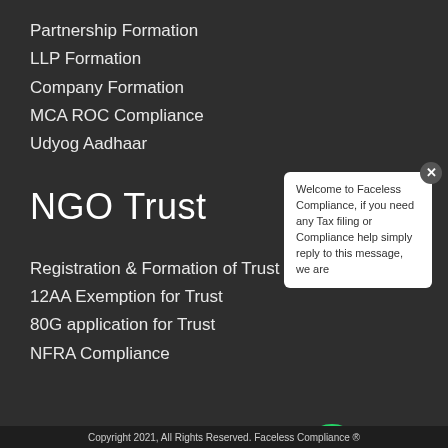Partnership Formation
LLP Formation
Company Formation
MCA ROC Compliance
Udyog Aadhaar
NGO Trust
Registration & Formation of Trust
12AA Exemption for Trust
80G application for Trust
NFRA Compliance
[Figure (screenshot): WhatsApp chat widget with popup message: Welcome to Faceless Compliance, if you need any Tax filing or Compliance help simply reply to this message, we are]
Copyright 2021, All Rights Reserved. Faceless Compliance ®